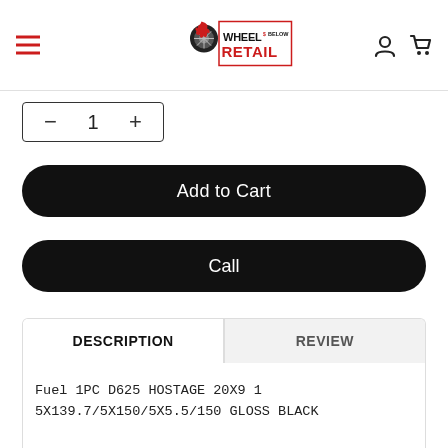[Figure (logo): Wheels Below Retail logo with flaming wheel graphic, red and black]
− 1 +
Add to Cart
Call
DESCRIPTION
REVIEW
Fuel 1PC D625 HOSTAGE 20X9 1 5X139.7/5X150/5X5.5/150 GLOSS BLACK